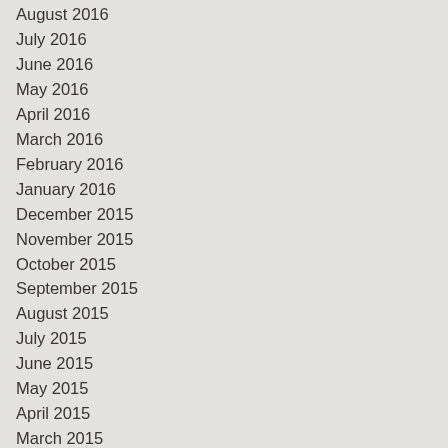August 2016
July 2016
June 2016
May 2016
April 2016
March 2016
February 2016
January 2016
December 2015
November 2015
October 2015
September 2015
August 2015
July 2015
June 2015
May 2015
April 2015
March 2015
February 2015
January 2015
December 2014
November 2014